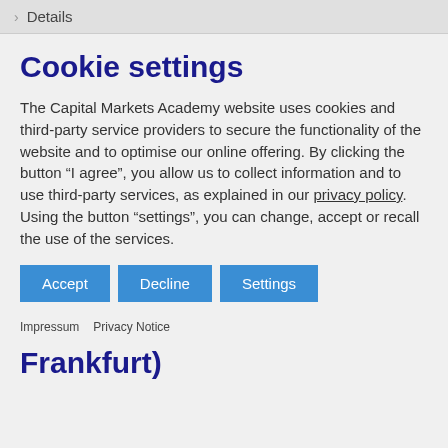> Details
Cookie settings
The Capital Markets Academy website uses cookies and third-party service providers to secure the functionality of the website and to optimise our online offering. By clicking the button “I agree”, you allow us to collect information and to use third-party services, as explained in our privacy policy. Using the button “settings”, you can change, accept or recall the use of the services.
Accept
Decline
Settings
Impressum   Privacy Notice
Frankfurt)